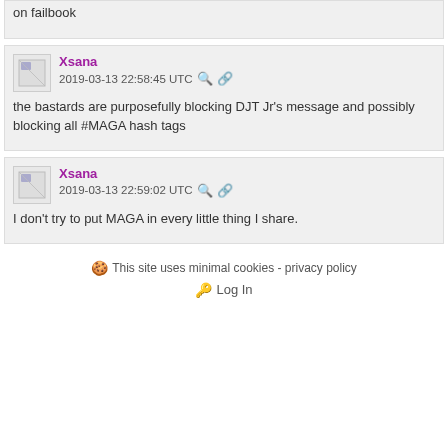on failbook
Xsana
2019-03-13 22:58:45 UTC
the bastards are purposefully blocking DJT Jr's message and possibly blocking all #MAGA hash tags
Xsana
2019-03-13 22:59:02 UTC
I don't try to put MAGA in every little thing I share.
This site uses minimal cookies - privacy policy
Log In